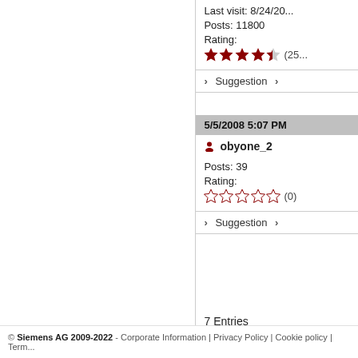Last visit: 8/24/20...
Posts: 11800
Rating:
(25...)
> Suggestion >
5/5/2008 5:07 PM
obyone_2
Posts: 39
Rating:
(0)
> Suggestion >
7 Entries
© Siemens AG 2009-2022 - Corporate Information | Privacy Policy | Cookie policy | Term...